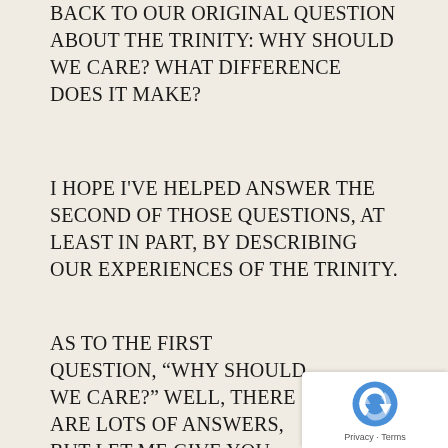BACK TO OUR ORIGINAL QUESTION ABOUT THE TRINITY: WHY SHOULD WE CARE? WHAT DIFFERENCE DOES IT MAKE?
I HOPE I'VE HELPED ANSWER THE SECOND OF THOSE QUESTIONS, AT LEAST IN PART, BY DESCRIBING OUR EXPERIENCES OF THE TRINITY.
AS TO THE FIRST QUESTION, “WHY SHOULD WE CARE?” WELL, THERE ARE LOTS OF ANSWERS, BUT LET ME GIVE YOU TWO.